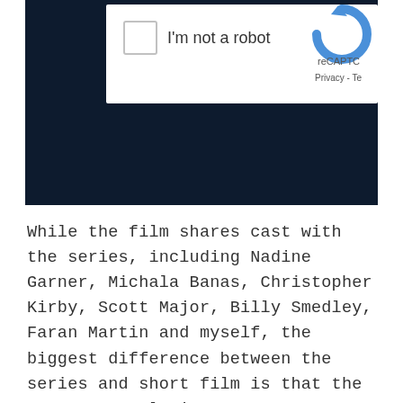[Figure (screenshot): A screenshot showing a reCAPTCHA widget with a checkbox labeled 'I'm not a robot' and the reCAPTCHA logo and 'reCAPTC' and 'Privacy - Te' text visible, on a dark navy background.]
While the film shares cast with the series, including Nadine Garner, Michala Banas, Christopher Kirby, Scott Major, Billy Smedley, Faran Martin and myself, the biggest difference between the series and short film is that the actors are playing scenes together, rather than just monologues. We also have our first musical piece. Jaron Natoli, a talented Melbourne musician who was 16 years old at the time,